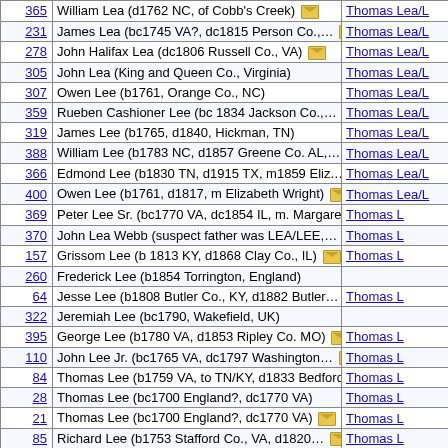| # | Name | Parent |
| --- | --- | --- |
| 365 | William Lea (d1762 NC, of Cobb's Creek) [env] | Thomas Lea/L |
| 231 | James Lea (bc1745 VA?, dc1815 Person Co.,… [env] | Thomas Lea/L |
| 278 | John Halifax Lea (dc1806 Russell Co., VA) [env] | Thomas Lea/L |
| 305 | John Lea (King and Queen Co., Virginia) | Thomas Lea/L |
| 307 | Owen Lee (b1761, Orange Co., NC) | Thomas Lea/L |
| 359 | Rueben Cashioner Lee (bc 1834 Jackson Co.,… [env] | Thomas Lea/L |
| 319 | James Lee (b1765, d1840, Hickman, TN) | Thomas Lea/L |
| 388 | William Lee (b1783 NC, d1857 Greene Co. AL,… [env] | Thomas Lea/L |
| 366 | Edmond Lee (b1830 TN, d1915 TX, m1859 Eliz.… [env] | Thomas Lea/L |
| 400 | Owen Lee (b1761, d1817, m Elizabeth Wright) [env] | Thomas Lea/L |
| 369 | Peter Lee Sr. (bc1770 VA, dc1854 IL, m. Margaret… [env] | Thomas L |
| 370 | John Lea Webb (suspect father was LEA/LEE,… [env] | Thomas L |
| 157 | Grissom Lee (b 1813 KY, d1868 Clay Co., IL) [env] | Thomas L |
| 260 | Frederick Lee (b1854 Torrington, England) |  |
| 64 | Jesse Lee (b1808 Butler Co., KY, d1882 Butler… [env] | Thomas L |
| 322 | Jeremiah Lee (bc1790, Wakefield, UK) |  |
| 395 | George Lee (b1780 VA, d1853 Ripley Co. MO) [env] | Thomas L |
| 110 | John Lee Jr. (bc1765 VA, dc1797 Washington… [env] | Thomas L |
| 84 | Thomas Lee (b1759 VA, to TN/KY, d1833 Bedford… | Thomas L |
| 28 | Thomas Lee (bc1700 England?, dc1770 VA) | Thomas L |
| 21 | Thomas Lee (bc1700 England?, dc1770 VA) [env] | Thomas L |
| 85 | Richard Lee (b1753 Stafford Co., VA, d1820… [env] | Thomas L |
| 321 | George James Lee (bc1830, d1911, Canada) |  |
| 446 | Thomas Lee (b1789 KY, d1874 Pulaski Co… [env] | Tho |